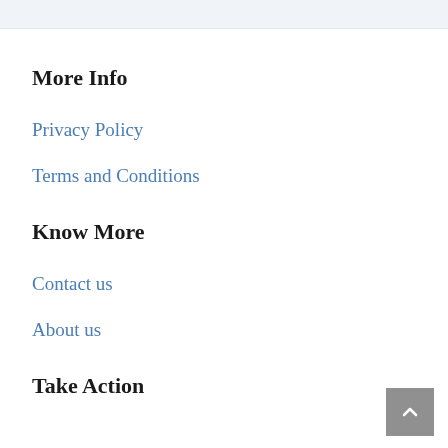More Info
Privacy Policy
Terms and Conditions
Know More
Contact us
About us
Take Action